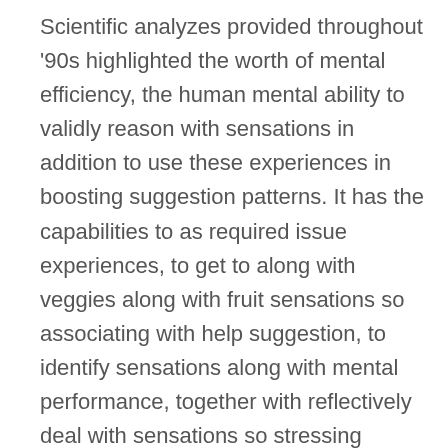Scientific analyzes provided throughout '90s highlighted the worth of mental efficiency, the human mental ability to validly reason with sensations in addition to use these experiences in boosting suggestion patterns. It has the capabilities to as required issue experiences, to get to along with veggies along with fruit sensations so associating with help suggestion, to identify sensations along with mental performance, together with reflectively deal with sensations so stressing market in addition to that emotional together with intellectual growth.
Emotional understanding enhances an